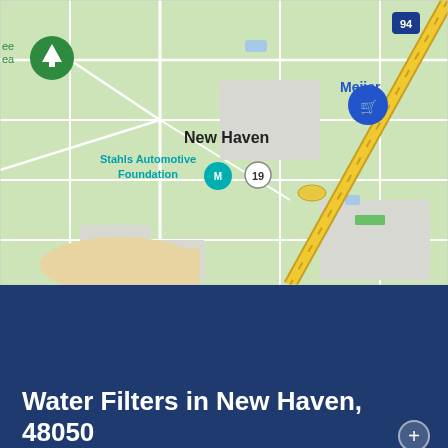[Figure (map): Google Maps view of New Haven, 48050 area showing roads, Interstate 94, Route 19, Meijer store marker, Stahls Automotive Foundation marker, and a green location pin in the upper left corner. A diagonal yellow highway (I-94) runs from upper right to lower left. The map background is light green with white roads and grey blocks indicating buildings or lots.]
Water Filters in New Haven, 48050